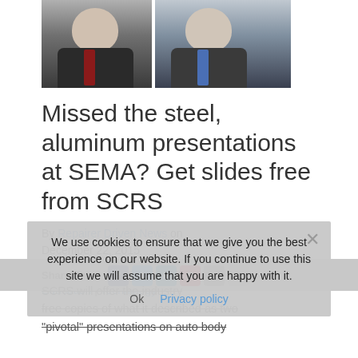[Figure (photo): Two men in business suits; left man wears red tie, right man wears blue tie. Photos are side by side headshots.]
Missed the steel, aluminum presentations at SEMA? Get slides free from SCRS
By Repairer Driven News on December 22, 2015
Announcements | Associations | Education | Technology
Share This: [social icons]
SCRS will offer the industry free copies of what it described as two "pivotal" presentations on auto body
We use cookies to ensure that we give you the best experience on our website. If you continue to use this site we will assume that you are happy with it.
Ok   Privacy policy